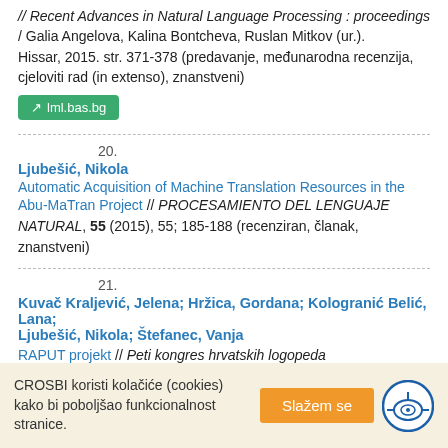// Recent Advances in Natural Language Processing : proceedings / Galia Angelova, Kalina Bontcheva, Ruslan Mitkov (ur.). Hissar, 2015. str. 371-378 (predavanje, međunarodna recenzija, cjeloviti rad (in extenso), znanstveni)
lml.bas.bg
20.
Ljubešić, Nikola
Automatic Acquisition of Machine Translation Resources in the Abu-MaTran Project // PROCESAMIENTO DEL LENGUAJE NATURAL, 55 (2015), 55; 185-188 (recenziran, članak, znanstveni)
21.
Kuvač Kraljević, Jelena; Hržica, Gordana; Kologranić Belić, Lana; Ljubešić, Nikola; Štefanec, Vanja
RAPUT projekt // Peti kongres hrvatskih logopeda
CROSBI koristi kolačiće (cookies) kako bi poboljšao funkcionalnost stranice.
Slažem se